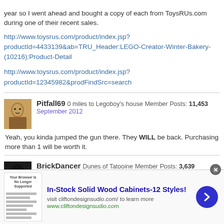year so I went ahead and bought a copy of each from ToysRUs.com during one of their recent sales.
http://www.toysrus.com/product/index.jsp?productId=4433139&ab=TRU_Header:LEGO-Creator-Winter-Bakery-(10216):Product-Detail
http://www.toysrus.com/product/index.jsp?productId=12345982&prodFindSrc=search
Pitfall69  0 miles to Legoboy's house  Member  Posts: 11,453  September 2012
Yeah, you kinda jumped the gun there. They WILL be back. Purchasing more than 1 will be worth it.
BrickDancer  Dunes of Tatooine  Member  Posts: 3,639  September 2012
In-Stock Solid Wood Cabinets-12 Styles! visit cliftondesignsudio.com/ to learn more www.cliftondesignsudio.com